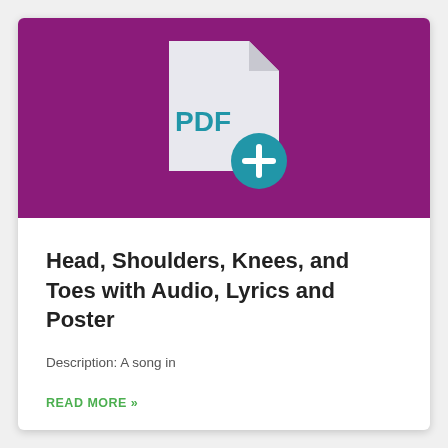[Figure (illustration): Purple background card header showing a white PDF file icon with a teal/blue plus-sign badge circle in the bottom right corner of the document icon]
Head, Shoulders, Knees, and Toes with Audio, Lyrics and Poster
Description: A song in
READ MORE »